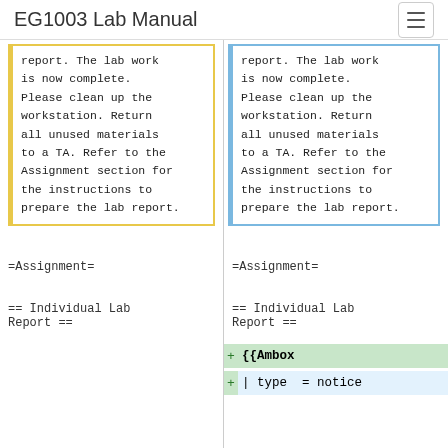EG1003 Lab Manual
report. The lab work is now complete. Please clean up the workstation. Return all unused materials to a TA. Refer to the Assignment section for the instructions to prepare the lab report.
report. The lab work is now complete. Please clean up the workstation. Return all unused materials to a TA. Refer to the Assignment section for the instructions to prepare the lab report.
=Assignment=
=Assignment=
== Individual Lab Report ==
== Individual Lab Report ==
{{Ambox
| type  = notice